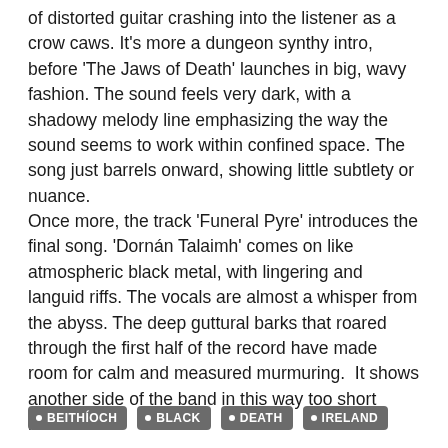of distorted guitar crashing into the listener as a crow caws. It's more a dungeon synthy intro, before 'The Jaws of Death' launches in big, wavy fashion. The sound feels very dark, with a shadowy melody line emphasizing the way the sound seems to work within confined space. The song just barrels onward, showing little subtlety or nuance.
Once more, the track 'Funeral Pyre' introduces the final song. 'Dornán Talaimh' comes on like atmospheric black metal, with lingering and languid riffs. The vocals are almost a whisper from the abyss. The deep guttural barks that roared through the first half of the record have made room for calm and measured murmuring.  It shows another side of the band in this way too short release.
Beithíoch spawns forth some creeping chaos on this EP, that will take you to some dark places.
BEITHÍOCH
BLACK
DEATH
IRELAND